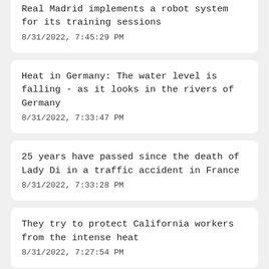Real Madrid implements a robot system for its training sessions
8/31/2022, 7:45:29 PM
Heat in Germany: The water level is falling - as it looks in the rivers of Germany
8/31/2022, 7:33:47 PM
25 years have passed since the death of Lady Di in a traffic accident in France
8/31/2022, 7:33:28 PM
They try to protect California workers from the intense heat
8/31/2022, 7:27:54 PM